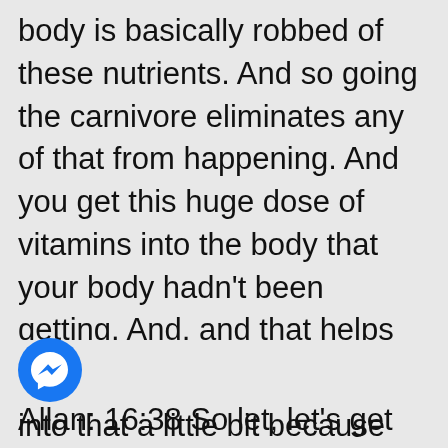body is basically robbed of these nutrients. And so going the carnivore eliminates any of that from happening. And you get this huge dose of vitamins into the body that your body hadn't been getting. And, and that helps with healing.
Allan: 16:38 So let, let's get into that a little bit because